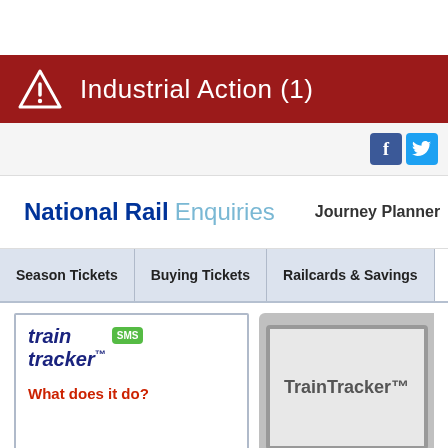[Figure (screenshot): Top white space area]
Industrial Action (1)
[Figure (logo): Facebook and Twitter social media icons]
[Figure (logo): National Rail Enquiries logo with double arrow symbol]
Journey Planner
Season Tickets
Buying Tickets
Railcards & Savings
Travel Tool
[Figure (logo): Train Tracker SMS logo]
What does it do?
TrainTracker™